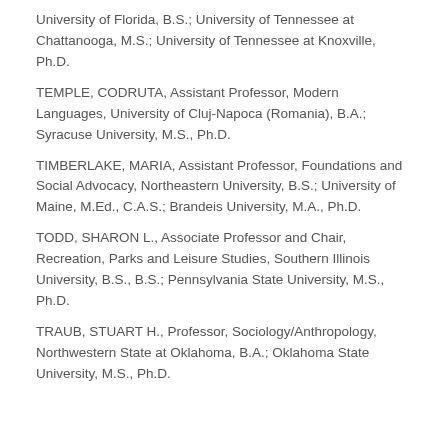University of Florida, B.S.; University of Tennessee at Chattanooga, M.S.; University of Tennessee at Knoxville, Ph.D.
TEMPLE, CODRUTA, Assistant Professor, Modern Languages, University of Cluj-Napoca (Romania), B.A.; Syracuse University, M.S., Ph.D.
TIMBERLAKE, MARIA, Assistant Professor, Foundations and Social Advocacy, Northeastern University, B.S.; University of Maine, M.Ed., C.A.S.; Brandeis University, M.A., Ph.D.
TODD, SHARON L., Associate Professor and Chair, Recreation, Parks and Leisure Studies, Southern Illinois University, B.S., B.S.; Pennsylvania State University, M.S., Ph.D.
TRAUB, STUART H., Professor, Sociology/Anthropology, Northwestern State at Oklahoma, B.A.; Oklahoma State University, M.S., Ph.D.